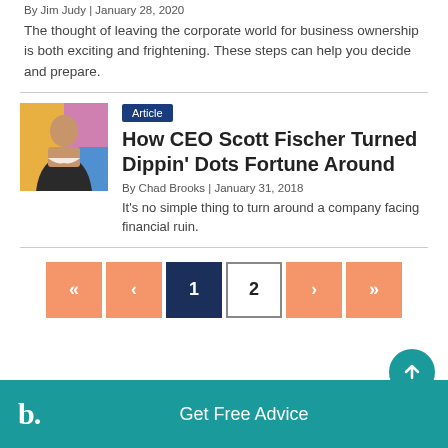By Jim Judy | January 28, 2020
The thought of leaving the corporate world for business ownership is both exciting and frightening. These steps can help you decide and prepare.
Article
[Figure (photo): Headshot of a man in a suit standing in front of colorful background]
How CEO Scott Fischer Turned Dippin' Dots Fortune Around
By Chad Brooks | January 31, 2018
It's no simple thing to turn around a company facing financial ruin.
Get Free Advice